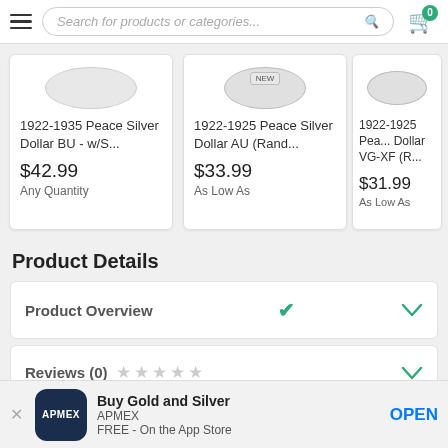Search for products or categories...
1922-1935 Peace Silver Dollar BU - w/S...
$42.99
Any Quantity
1922-1925 Peace Silver Dollar AU (Rand...
$33.99
As Low As
1922-1925 Peace Dollar VG-XF (R...
$31.99
As Low As
Product Details
Product Overview
Reviews (0) ☆☆☆☆☆
[Figure (screenshot): APMEX app install banner: Buy Gold and Silver, APMEX, FREE - On the App Store, OPEN button]